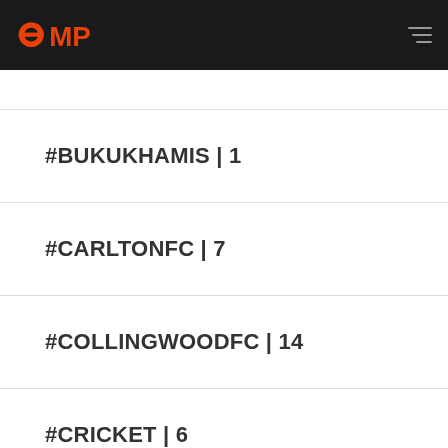OMP
#BUKUKHAMIS | 1
#CARLTONFC | 7
#COLLINGWOODFC | 14
#CRICKET | 6